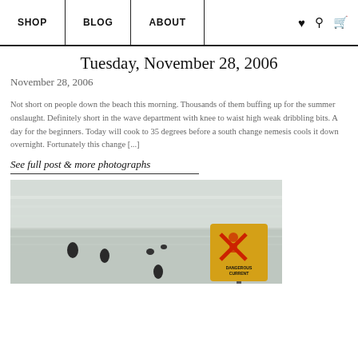SHOP | BLOG | ABOUT
Tuesday, November 28, 2006
November 28, 2006
Not short on people down the beach this morning. Thousands of them buffing up for the summer onslaught. Definitely short in the wave department with knee to waist high weak dribbling bits. A day for the beginners. Today will cook to 35 degrees before a south change nemesis cools it down overnight. Fortunately this change [...]
See full post & more photographs
[Figure (photo): Beach scene with ocean waves and a yellow 'Dangerous Current' warning sign. Several people visible in the water as dark silhouettes.]